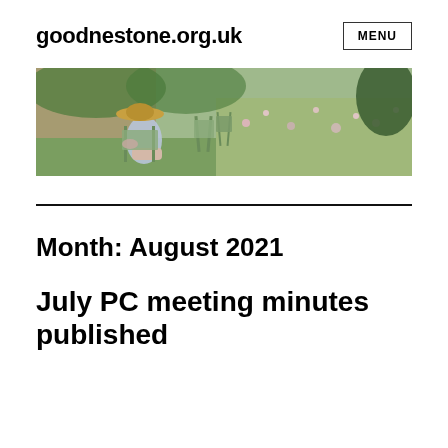goodnestone.org.uk
[Figure (photo): A person in a wide-brimmed hat sitting in a garden chair among green folding chairs and wildflowers, with a brick wall in the background]
Month: August 2021
July PC meeting minutes published